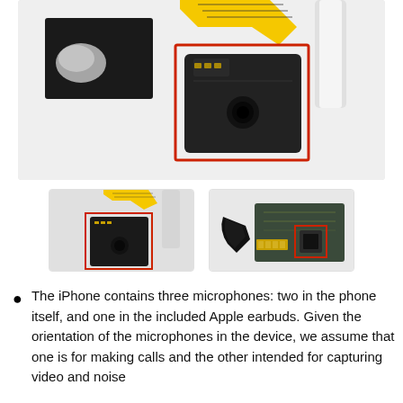[Figure (photo): Close-up photo of an iPhone internal component — a small black microphone module attached to a yellow flex cable and other components, with a red rectangle highlighting the microphone module. Background is light gray/white.]
[Figure (photo): Thumbnail: Small black microphone module with flex cable, red rectangle highlighting the microphone, dark background.]
[Figure (photo): Thumbnail: Circuit board component with a small chip highlighted by a red rectangle, with a black ribbon/flex element visible.]
The iPhone contains three microphones: two in the phone itself, and one in the included Apple earbuds. Given the orientation of the microphones in the device, we assume that one is for making calls and the other intended for capturing video and noise